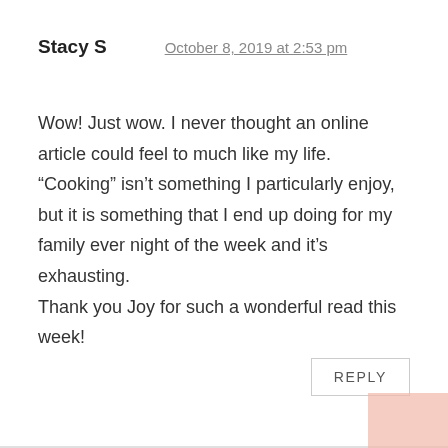Stacy S
October 8, 2019 at 2:53 pm
Wow! Just wow. I never thought an online article could feel to much like my life. “Cooking” isn't something I particularly enjoy, but it is something that I end up doing for my family ever night of the week and it's exhausting.
Thank you Joy for such a wonderful read this week!
REPLY